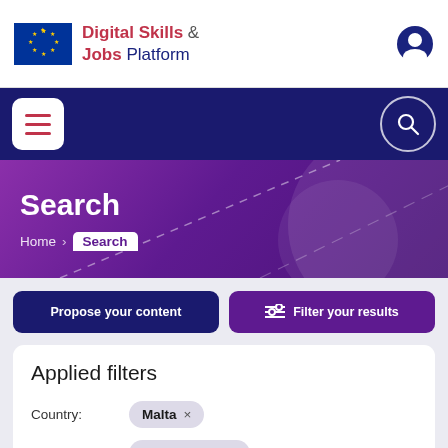[Figure (logo): Digital Skills & Jobs Platform logo with EU flag]
[Figure (screenshot): Navigation hamburger menu button and search icon on dark navy background]
Search
Home > Search
Propose your content
Filter your results
Applied filters
Country: Malta ×
Created date: August 2021 ×